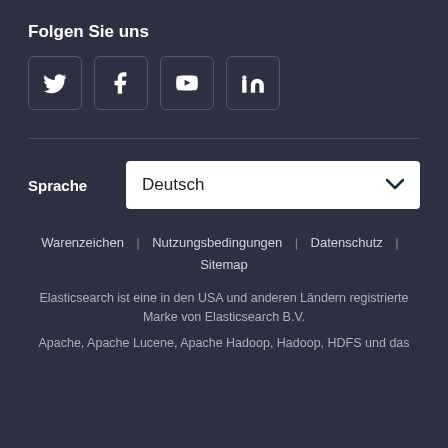Folgen Sie uns
[Figure (infographic): Four social media icon buttons (Twitter, Facebook, YouTube, LinkedIn) in rounded square borders on dark background]
Sprache   Deutsch
Warenzeichen | Nutzungsbedingungen | Datenschutz | Sitemap
Elasticsearch ist eine in den USA und anderen Ländern registrierte Marke von Elasticsearch B.V.
Apache, Apache Lucene, Apache Hadoop, Hadoop, HDFS und das